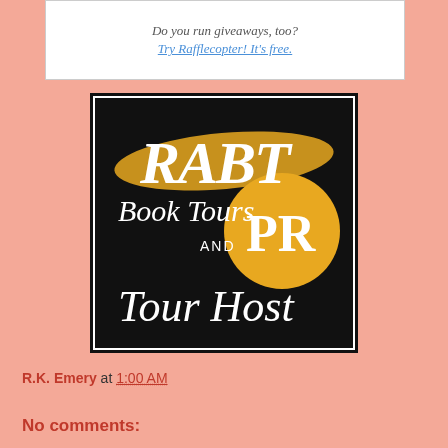[Figure (screenshot): Widget box showing italic text 'Do you run giveaways, too?' and a link 'Try Rafflecopter! It's free.']
[Figure (logo): RABT Book Tours and PR Tour Host logo — black square background with gold brushstroke and gold circle, white italic/script text reading 'RABT', 'Book Tours', 'AND', 'PR', 'Tour Host']
R.K. Emery at 1:00 AM
Share
No comments: